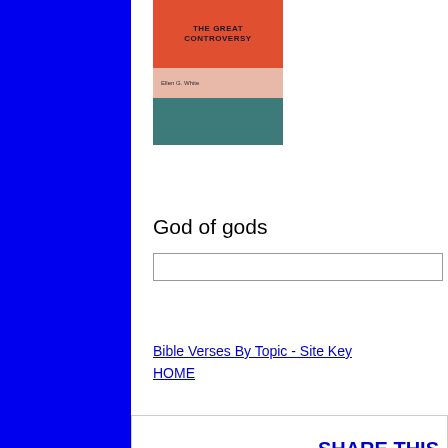[Figure (photo): Book cover of 'The Great Controversy' by Ellen G. White. Orange top section with title text, pink/salmon author section, and teal/dark green lower section.]
God of gods
Bible Verses By Topic - Site Key
HOME
SHARE THIS